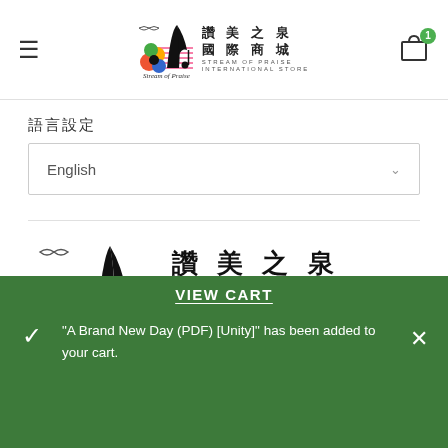[Figure (logo): Stream of Praise International Store header logo with Chinese text 讚美之泉 國際商城 and STREAM OF PRAISE INTERNATIONAL STORE]
語言設定
English
[Figure (logo): Stream of Praise International Store large logo with Chinese characters 讚美之泉 國際商城, STREAM OF PRAISE INTERNATIONAL STORE and colorful music note illustration]
1165 Warner Ave.
VIEW CART
"A Brand New Day (PDF) [Unity]" has been added to your cart.